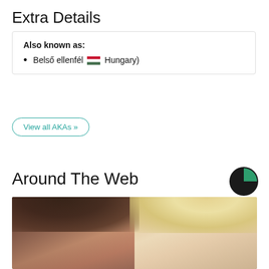Extra Details
Also known as:
Belső ellenfél (🇭🇺 Hungary)
View all AKAs »
Around The Web
[Figure (logo): Around The Web logo — dark circle with green quarter segment]
[Figure (photo): Photo of two women smiling — one with dark hair on the left, one with blonde hair on the right]